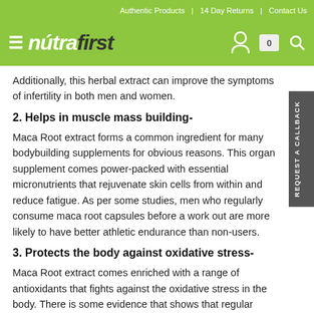Authentic Products | 14 Day Returns | Contact Us
[Figure (logo): Nutrafirst logo with hamburger menu icon on green background, with person icon, cart icon showing 0, and search icon on the right]
Additionally, this herbal extract can improve the symptoms of infertility in both men and women.
2. Helps in muscle mass building-
Maca Root extract forms a common ingredient for many bodybuilding supplements for obvious reasons. This organic supplement comes power-packed with essential micronutrients that rejuvenate skin cells from within and reduce fatigue. As per some studies, men who regularly consume maca root capsules before a work out are more likely to have better athletic endurance than non-users.
3. Protects the body against oxidative stress-
Maca Root extract comes enriched with a range of antioxidants that fights against the oxidative stress in the body. There is some evidence that shows that regular consumption of Maca root capsules increases the production